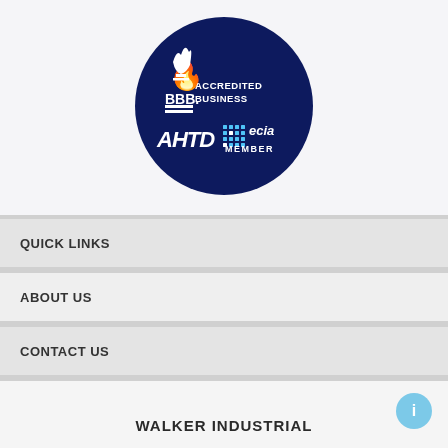[Figure (logo): Dark navy blue circular badge containing BBB Accredited Business logo at top, and AHTD and ECIA Member logos at bottom, all in white on navy background]
QUICK LINKS
ABOUT US
CONTACT US
WALKER INDUSTRIAL